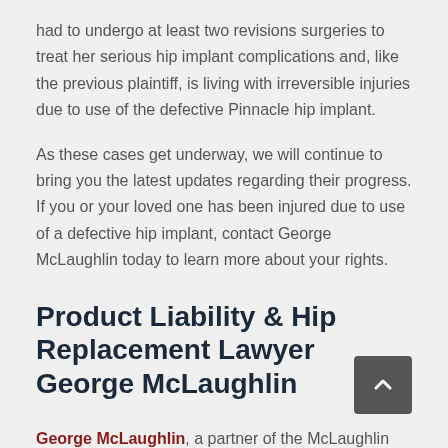had to undergo at least two revisions surgeries to treat her serious hip implant complications and, like the previous plaintiff, is living with irreversible injuries due to use of the defective Pinnacle hip implant.
As these cases get underway, we will continue to bring you the latest updates regarding their progress. If you or your loved one has been injured due to use of a defective hip implant, contact George McLaughlin today to learn more about your rights.
Product Liability & Hip Replacement Lawyer George McLaughlin
George McLaughlin, a partner of the McLaughlin Law